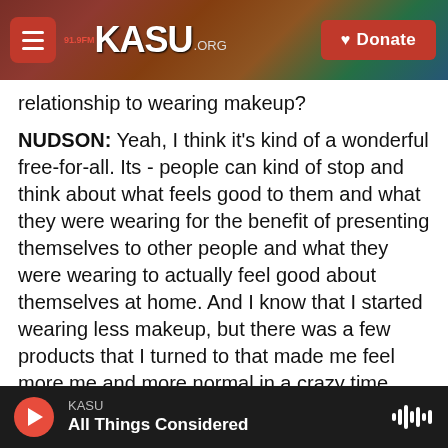KASU 91.9FM .ORG | Donate
relationship to wearing makeup?
NUDSON: Yeah, I think it's kind of a wonderful free-for-all. Its - people can kind of stop and think about what feels good to them and what they were wearing for the benefit of presenting themselves to other people and what they were wearing to actually feel good about themselves at home. And I know that I started wearing less makeup, but there was a few products that I turned to that made me feel more me and more normal in a crazy time.
So to take the time to actually pause and reassess your own process and why it matters, and I think
KASU — All Things Considered